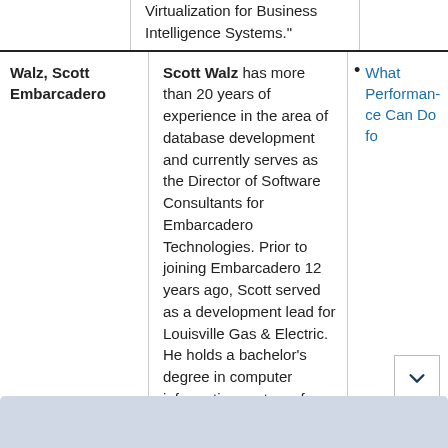Virtualization for Business Intelligence Systems."
Walz, Scott
Embarcadero
Scott Walz has more than 20 years of experience in the area of database development and currently serves as the Director of Software Consultants for Embarcadero Technologies. Prior to joining Embarcadero 12 years ago, Scott served as a development lead for Louisville Gas & Electric. He holds a bachelor's degree in computer information systems from Western Kentucky University.
What Performance Can Do fo